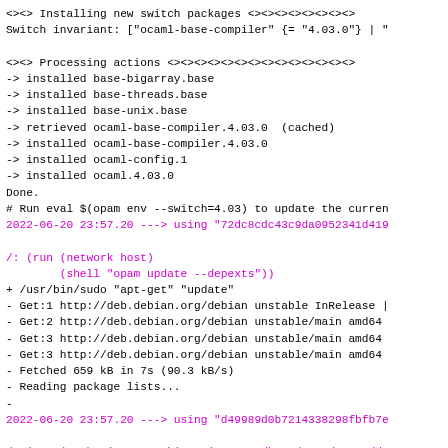<><> Installing new switch packages <><><><><><><>
Switch invariant: ["ocaml-base-compiler" {= "4.03.0"} | "

<><> Processing actions <><><><><><><><><><><><><>
-> installed base-bigarray.base
-> installed base-threads.base
-> installed base-unix.base
-> retrieved ocaml-base-compiler.4.03.0  (cached)
-> installed ocaml-base-compiler.4.03.0
-> installed ocaml-config.1
-> installed ocaml.4.03.0
Done.
# Run eval $(opam env --switch=4.03) to update the curren
2022-06-20 23:57.20 ---> using "72dc8cdc43c9da0952341d419

/: (run (network host)
        (shell "opam update --depexts"))
+ /usr/bin/sudo "apt-get" "update"
- Get:1 http://deb.debian.org/debian unstable InRelease |
- Get:2 http://deb.debian.org/debian unstable/main amd64
- Get:3 http://deb.debian.org/debian unstable/main amd64
- Get:3 http://deb.debian.org/debian unstable/main amd64
- Fetched 659 kB in 7s (90.3 kB/s)
- Reading package lists...
-
2022-06-20 23:57.20 ---> using "d49989d0b7214338298fbfb7e

/: (run (cache (opam-archives (target /home/opam/.opam/dc
        (network host)
           "opam install --depexts"